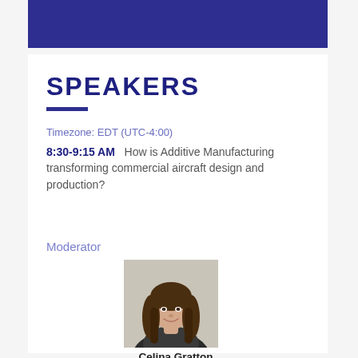SPEAKERS
Timezone: EDT (UTC-4:00)
8:30-9:15 AM    How is Additive Manufacturing transforming commercial aircraft design and production?
Moderator
[Figure (photo): Headshot photo of Celina Gratton, a young woman with long brown hair, smiling, wearing a dark blazer]
Celina Gratton
Project Management Business Partner